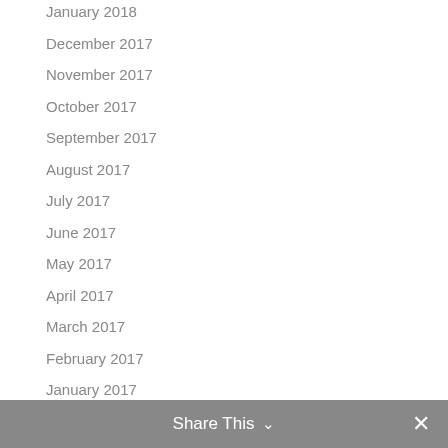January 2018
December 2017
November 2017
October 2017
September 2017
August 2017
July 2017
June 2017
May 2017
April 2017
March 2017
February 2017
January 2017
December 2016
November 2016
Share This ∨  ✕